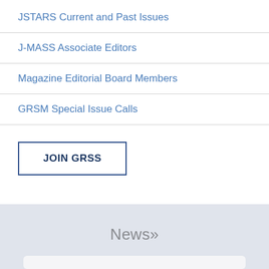JSTARS Current and Past Issues
J-MASS Associate Editors
Magazine Editorial Board Members
GRSM Special Issue Calls
JOIN GRSS
News»